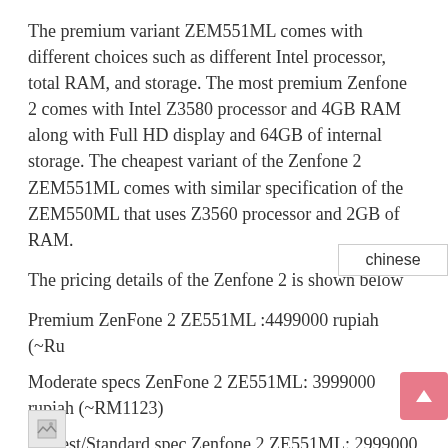The premium variant ZEM551ML comes with different choices such as different Intel processor, total RAM, and storage. The most premium Zenfone 2 comes with Intel Z3580 processor and 4GB RAM along with Full HD display and 64GB of internal storage. The cheapest variant of the Zenfone 2 ZEM551ML comes with similar specification of the ZEM550ML that uses Z3560 processor and 2GB of RAM.
The pricing details of the Zenfone 2 is shown below
Premium ZenFone 2 ZE551ML :4499000 rupiah (~Ru... [chinese]
Moderate specs ZenFone 2 ZE551ML: 3999000 rupiah (~RM1123)
Lowest/Standard spec Zenfone 2 ZE551ML: 2999000 rupiah (~Rm849)
ZenFone 2 ZE550ML: 2699000 rupiah (~RM 758)